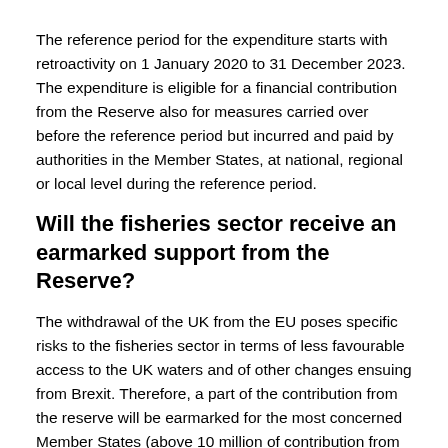The reference period for the expenditure starts with retroactivity on 1 January 2020 to 31 December 2023. The expenditure is eligible for a financial contribution from the Reserve also for measures carried over before the reference period but incurred and paid by authorities in the Member States, at national, regional or local level during the reference period.
Will the fisheries sector receive an earmarked support from the Reserve?
The withdrawal of the UK from the EU poses specific risks to the fisheries sector in terms of less favourable access to the UK waters and of other changes ensuing from Brexit. Therefore, a part of the contribution from the reserve will be earmarked for the most concerned Member States (above 10 million of contribution from the fishery criteria in the allocation method). At least 50% of this amount or 7%